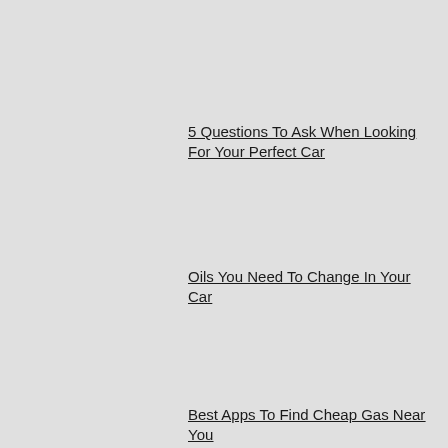5 Questions To Ask When Looking For Your Perfect Car
Oils You Need To Change In Your Car
Best Apps To Find Cheap Gas Near You